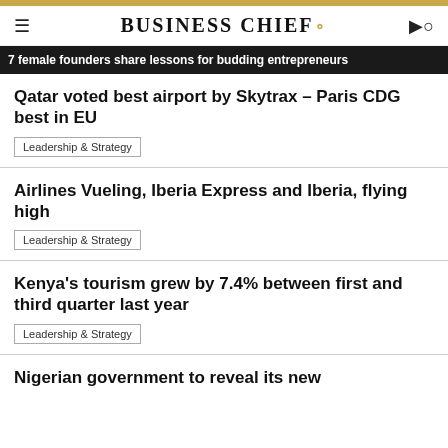BUSINESS CHIEF.
7 female founders share lessons for budding entrepreneurs
Qatar voted best airport by Skytrax – Paris CDG best in EU
Leadership & Strategy
Airlines Vueling, Iberia Express and Iberia, flying high
Leadership & Strategy
Kenya's tourism grew by 7.4% between first and third quarter last year
Leadership & Strategy
Nigerian government to reveal its new